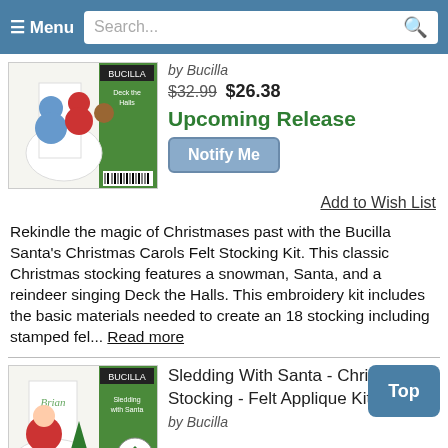Menu | Search...
[Figure (photo): Bucilla Santa's Christmas Carols Felt Stocking Kit product image showing snowman, Santa, and reindeer characters on a stocking]
by Bucilla
$32.99 $26.38
Upcoming Release
Notify Me
Add to Wish List
Rekindle the magic of Christmases past with the Bucilla Santa's Christmas Carols Felt Stocking Kit. This classic Christmas stocking features a snowman, Santa, and a reindeer singing Deck the Halls. This embroidery kit includes the basic materials needed to create an 18 stocking including stamped fel... Read more
[Figure (photo): Bucilla Sledding With Santa Christmas Stocking Felt Applique Kit product image showing Santa on a sled with deer]
Sledding With Santa - Christmas Stocking - Felt Applique Kit by Bucilla
$30.99 $24.78
Top